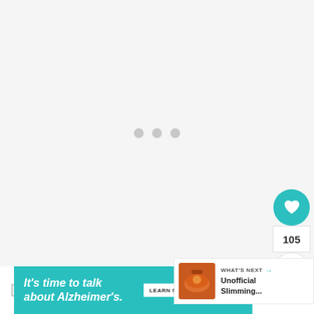[Figure (screenshot): Loading state with three gray dots centered on a light gray background area]
[Figure (infographic): Social interaction sidebar with heart/like button (teal), count 105, and share button]
105
[Figure (infographic): What's Next panel with thumbnail of soup bowl and text 'Unofficial Slimming...']
[Figure (infographic): Advertisement banner: It's time to talk about Alzheimer's. LEARN MORE. Alzheimer's Association logo.]
Do...eck